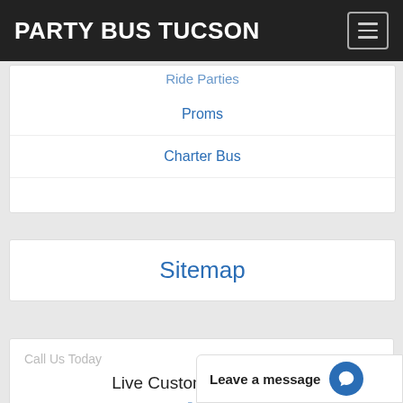PARTY BUS TUCSON
Proms
Charter Bus
Sitemap
Call Us Today
Live Customer Support:
5...
Leave a message